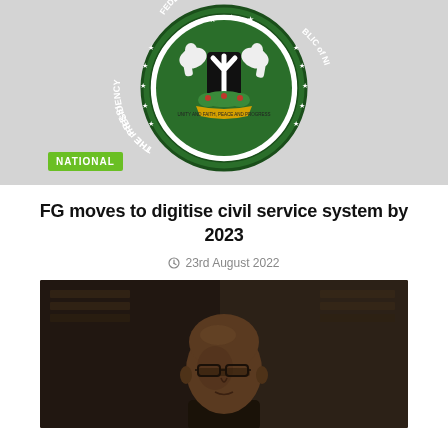[Figure (logo): Nigerian Presidential seal/coat of arms on green circular background with stars and text around border. A 'NATIONAL' green label badge overlaid at bottom left.]
FG moves to digitise civil service system by 2023
23rd August 2022
[Figure (photo): Dark-toned portrait photo of a bald Black man wearing glasses, shown from roughly shoulders up, with a dark blurred background.]